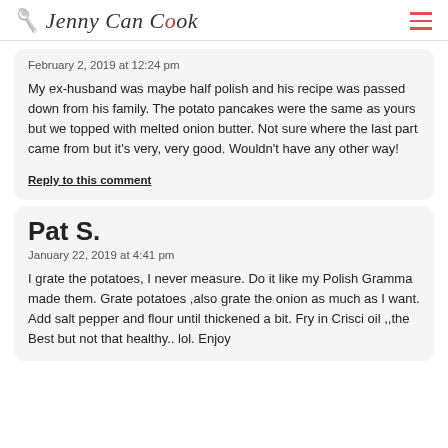Jenny Can Cook
February 2, 2019 at 12:24 pm
My ex-husband was maybe half polish and his recipe was passed down from his family. The potato pancakes were the same as yours but we topped with melted onion butter. Not sure where the last part came from but it's very, very good. Wouldn't have any other way!
Reply to this comment
Pat S.
January 22, 2019 at 4:41 pm
I grate the potatoes, I never measure. Do it like my Polish Gramma made them. Grate potatoes ,also grate the onion as much as I want. Add salt pepper and flour until thickened a bit. Fry in Crisci oil ,,the Best but not that healthy.. lol. Enjoy